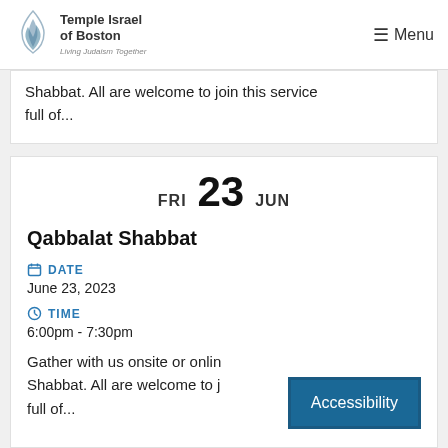Temple Israel of Boston — Menu
Shabbat. All are welcome to join this service full of...
FRI 23 JUN
Qabbalat Shabbat
DATE
June 23, 2023
TIME
6:00pm - 7:30pm
Gather with us onsite or online for Shabbat. All are welcome to join this service full of...